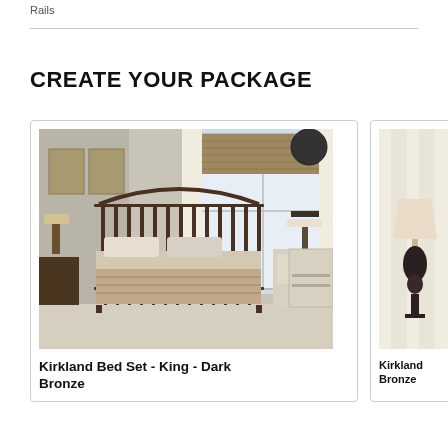Rails
CREATE YOUR PACKAGE
[Figure (photo): Kirkland Bed Set King Dark Bronze - metal bed frame with dark bronze finish in a bedroom setting with neutral decor]
Kirkland Bed Set - King - Dark Bronze
[Figure (photo): Kirkland Bronze item - partially visible, showing a lamp with dark bronze base and cream shade against cream curtains]